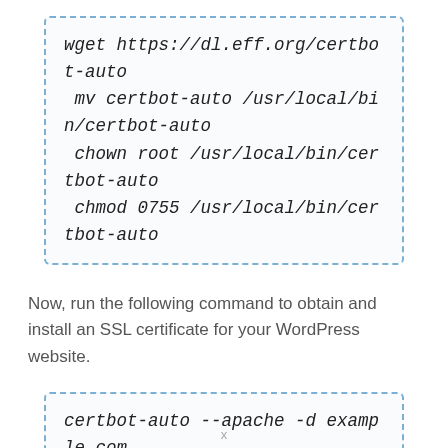[Figure (other): Code block with dashed blue border showing wget and certbot-auto installation commands]
Now, run the following command to obtain and install an SSL certificate for your WordPress website.
[Figure (other): Code block with dashed blue border showing certbot-auto --apache -d example.com command]
x